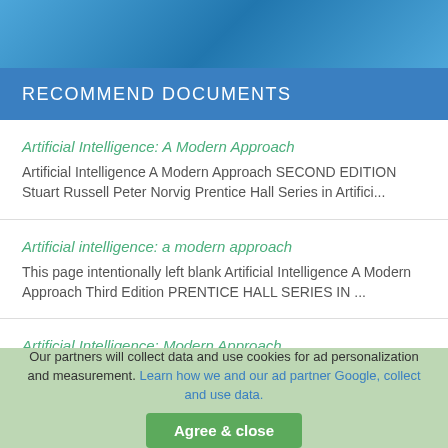[Figure (illustration): Blue gradient banner at top of page]
RECOMMEND DOCUMENTS
Artificial Intelligence: A Modern Approach
Artificial Intelligence A Modern Approach SECOND EDITION Stuart Russell Peter Norvig Prentice Hall Series in Artifici...
Artificial intelligence: a modern approach
This page intentionally left blank Artificial Intelligence A Modern Approach Third Edition PRENTICE HALL SERIES IN ...
Artificial Intelligence: Modern Approach
Artificial Intelligence A Modern Approach
Our partners will collect data and use cookies for ad personalization and measurement. Learn how we and our ad partner Google, collect and use data.